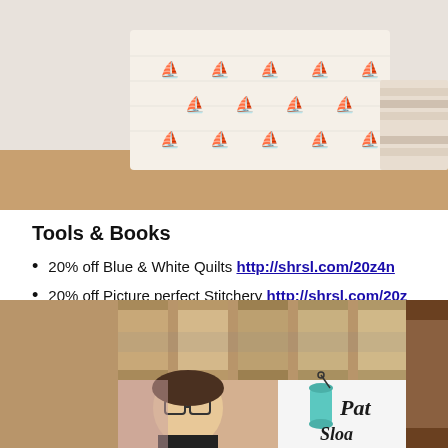[Figure (photo): Photo of fabric bags with navy blue sailboat/bird pattern on light background, with folded fabric in background]
Tools & Books
20% off Blue & White Quilts http://shrsl.com/20z4n
20% off Picture perfect Stitchery http://shrsl.com/20z
Quilt is in the Perfect 10 Book http://shrsl.com/1yc7h
Perfect 5 ruler & book http://shrsl.com/1yc7g
[Figure (photo): Collage photo: spools of tan/brown thread, portrait of smiling woman with glasses and dark hair, and book/logo showing 'Pat Sloan' with teal sewing thread spool illustration]